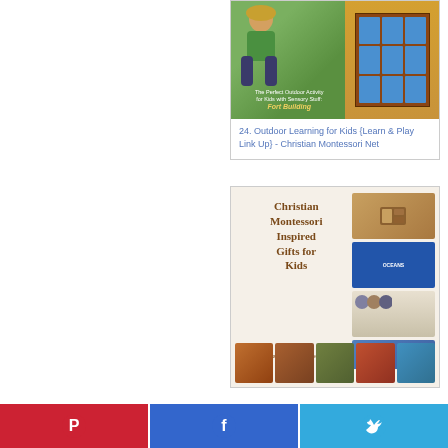[Figure (photo): Collage image showing a child doing outdoor activity (fort building) on the left and a rock/nature collection box on the right, used as thumbnail for an article.]
24. Outdoor Learning for Kids {Learn & Play Link Up} - Christian Montessori Net
[Figure (infographic): Promotional image for 'Christian Montessori Inspired Gifts for Kids' featuring text and collage of product images including nativity set, ocean book, animal figurines, stacking blocks, puzzles.]
Pinterest share button
Facebook share button
Twitter share button